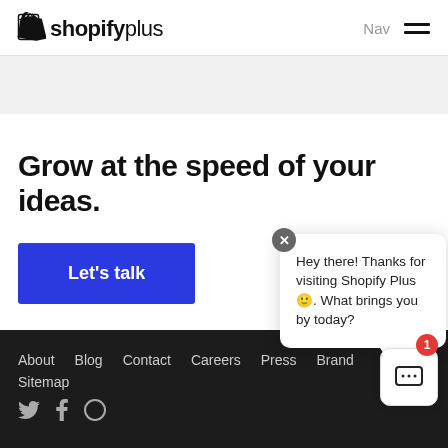shopifyplus — navigation header with hamburger menu
Grow at the speed of your ideas.
Let's talk
About  Blog  Contact  Careers  Press  Brand  Sitemap
Hey there! Thanks for visiting Shopify Plus 🙂. What brings you by today?